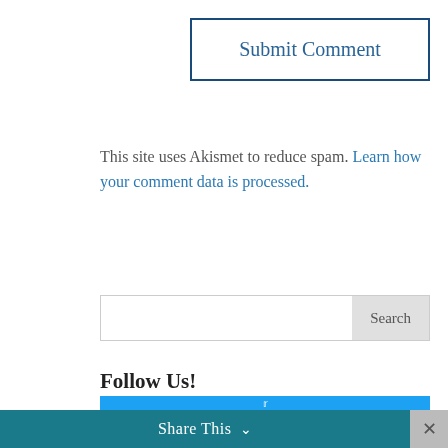Submit Comment
This site uses Akismet to reduce spam. Learn how your comment data is processed.
[Figure (screenshot): Search input bar with Search button on the right]
Follow Us!
[Figure (screenshot): Facebook follow widget — dark blue block with Facebook 'f' icon circle in center; teal scroll-to-top button on the right]
Share This ∨   ✕